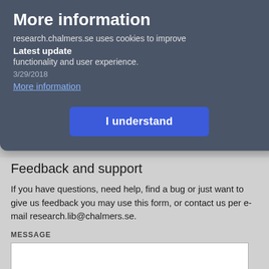More information
research.chalmers.se uses cookies to improve functionality and user experience.
Latest update
3/29/2018
More information
[Figure (screenshot): Blue 'I understand' button in cookie consent dialog]
Feedback and support
If you have questions, need help, find a bug or just want to give us feedback you may use this form, or contact us per e-mail research.lib@chalmers.se.
MESSAGE
[Figure (screenshot): White text input area for message field]